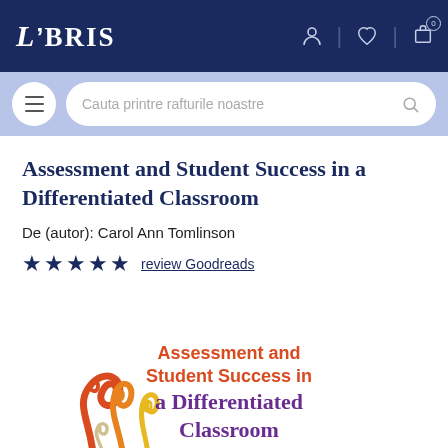LIBRIS
Cauta printre rafturile noastre
Assessment and Student Success in a Differentiated Classroom
De (autor): Carol Ann Tomlinson
★★★★★ review Goodreads
[Figure (illustration): Book cover of 'Assessment and Student Success in a Differentiated Classroom' showing decorative swirl designs in orange, gold and purple colors with the book title text]